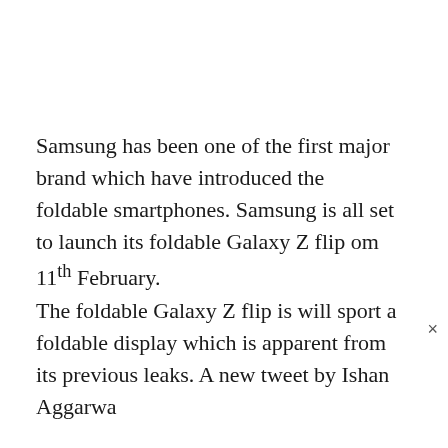Samsung has been one of the first major brand which have introduced the foldable smartphones. Samsung is all set to launch its foldable Galaxy Z flip om 11th February.
The foldable Galaxy Z flip is will sport a foldable display which is apparent from its previous leaks. A new tweet by Ishan Aggarwa ×